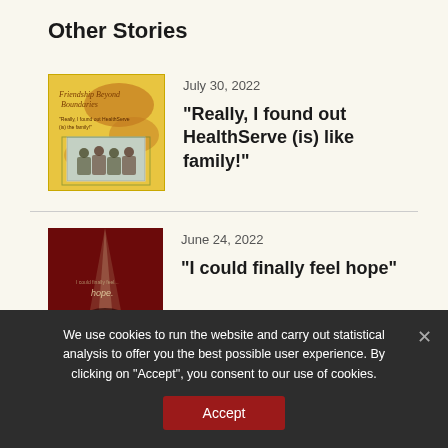Other Stories
[Figure (illustration): Yellow/gold illustrated book cover for 'Friendship Beyond Boundaries' showing 'Really, I found out HealthServe (is) like family!' with a group photo in the center]
July 30, 2022
“Really, I found out HealthServe (is) like family!”
[Figure (illustration): Dark red dramatic image with light beam and text 'I could finally feel hope']
June 24, 2022
“I could finally feel hope”
We use cookies to run the website and carry out statistical analysis to offer you the best possible user experience. By clicking on “Accept”, you consent to our use of cookies.